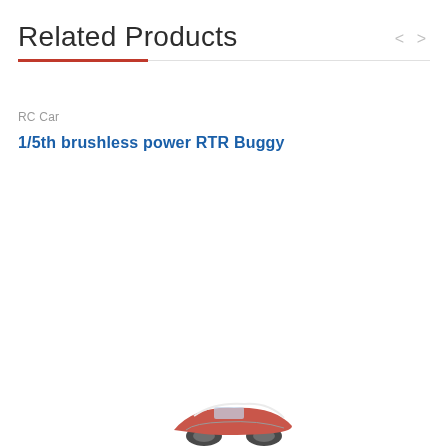Related Products
RC Car
1/5th brushless power RTR Buggy
[Figure (photo): Partial view of an RC buggy car visible at the bottom of the page]